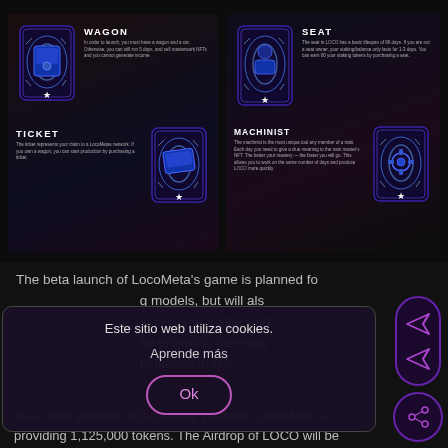[Figure (screenshot): Screenshot of LocoMeta NFT game page showing four NFT card types: WAGON (top-left), TICKET (bottom-left), SEAT (top-right), MACHINIST (bottom-right), each with glowing blue sci-fi card artwork and descriptive text]
The beta launch of LocoMeta's game is planned fo... g models, but will als... st in-game avatar and... he project is currently... to launch in Q2.
Este sitio web utiliza cookies.
Aprende más
Ok
As a Gold sponsor of the Infinity platform, LocoMeta is providing 1,125,000 tokens. The Airdrop of LOCO will be